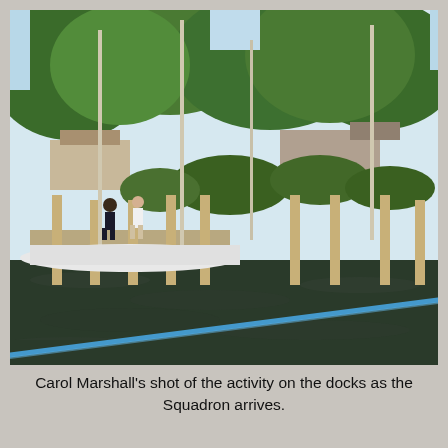[Figure (photo): Outdoor daytime photograph of a marina dock scene. Sailboats and people are visible at a dock with wooden pylons. Trees with green foliage are in the background along with buildings. The foreground shows dark water with a blue rope running diagonally from lower-left to right. Several people on docks and boats, one wearing an orange safety vest.]
Carol Marshall's shot of the activity on the docks as the Squadron arrives.